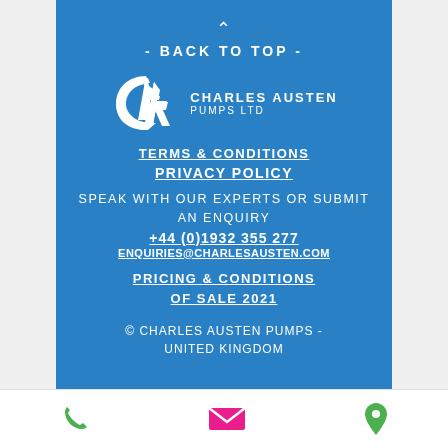- BACK TO TOP -
[Figure (logo): Charles Austen Pumps Ltd logo — stylized CA monogram in white on blue background with company name text]
TERMS & CONDITIONS
PRIVACY POLICY
SPEAK WITH OUR EXPERTS OR SUBMIT AN ENQUIRY
+44 (0)1932 355 277
ENQUIRIES@CHARLESAUSTEN.COM
PRICING & CONDITIONS OF SALE 2021
© CHARLES AUSTEN PUMPS - UNITED KINGDOM
[Figure (infographic): Footer bar with three icons: green phone icon, pink/magenta envelope icon, green location pin icon]